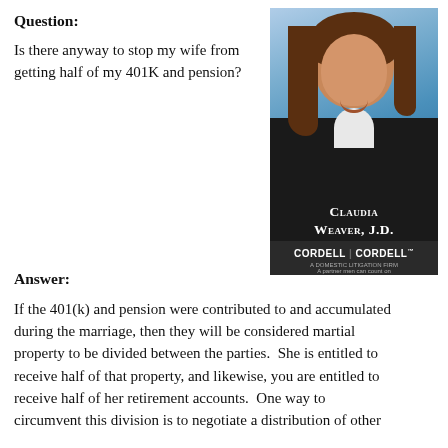Question:
Is there anyway to stop my wife from getting half of my 401K and pension?
[Figure (photo): Professional headshot of Claudia Weaver, J.D., attorney at Cordell & Cordell, a domestic litigation firm. Woman with brown hair wearing a dark jacket, smiling, against a blue background. Name plate reads: CLAUDIA WEAVER, J.D. / CORDELL|CORDELL / A DOMESTIC LITIGATION FIRM / A partner men can count on]
Answer:
If the 401(k) and pension were contributed to and accumulated during the marriage, then they will be considered martial property to be divided between the parties.  She is entitled to receive half of that property, and likewise, you are entitled to receive half of her retirement accounts.  One way to circumvent this division is to negotiate a distribution of other